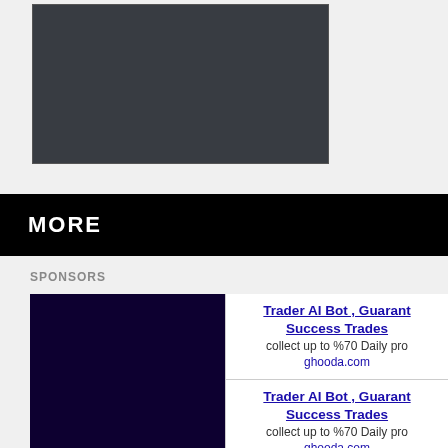[Figure (screenshot): Dark gray video player box]
MORE
SPONSORS
[Figure (photo): Dark purple/black image block]
Trader AI Bot , Guarant Success Trades
collect up to %70 Daily pro
ghooda.com
Trader AI Bot , Guarant Success Trades
collect up to %70 Daily pro
ghooda.com
Trader AI Bot , Guarant Success Trades